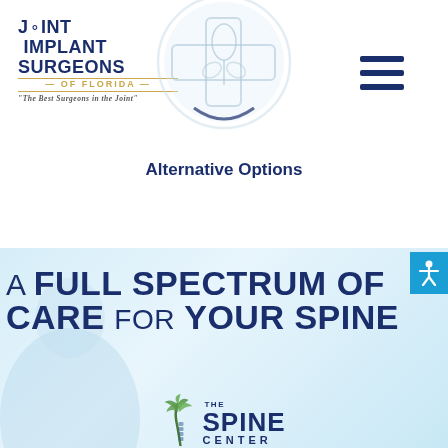[Figure (logo): Joint Implant Surgeons of Florida logo with tagline 'The Best Surgeons in the Joint']
[Figure (illustration): Circular icon with medical/alternative care symbol (plant/cross motif) in light blue outline style]
[Figure (illustration): Hamburger menu icon (three horizontal navy bars) in top right corner]
Alternative Options
[Figure (illustration): Accessibility icon button (person with arms out) in blue square on right side]
[Figure (photo): Background photo of a person, light blue toned, partially visible behind headline text]
A FULL SPECTRUM OF CARE FOR YOUR SPINE
[Figure (logo): The Spine Center logo with palm tree icon and text THE SPINE CENTER]